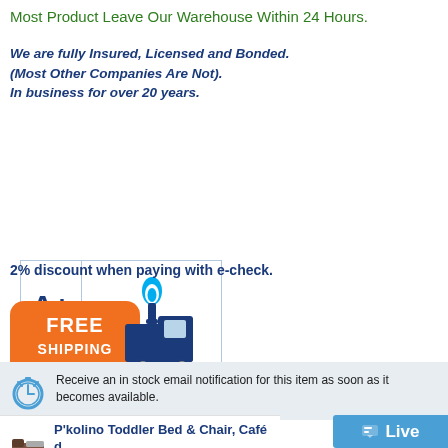Most Product Leave Our Warehouse Within 24 Hours.
We are fully Insured, Licensed and Bonded.
(Most Other Companies Are Not).
In business for over 20 years.
[Figure (logo): BBB A+ Rating from BBB Accredited Business logo with torch symbol]
2% discount when paying with e-check.
[Figure (illustration): Free Shipping badge with orange rectangle saying FREE SHIPPING and a dark blue delivery truck]
Receive an in stock email notification for this item as soon as it becomes available.
P'kolino Toddler Bed & Chair, Café d... PKFFBCL0(AZFS)